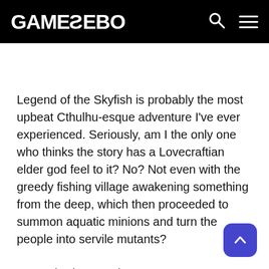GAMEZEBO
Legend of the Skyfish is probably the most upbeat Cthulhu-esque adventure I've ever experienced. Seriously, am I the only one who thinks the story has a Lovecraftian elder god feel to it? No? Not even with the greedy fishing village awakening something from the deep, which then proceeded to summon aquatic minions and turn the people into servile mutants?
Guess it's just me then.